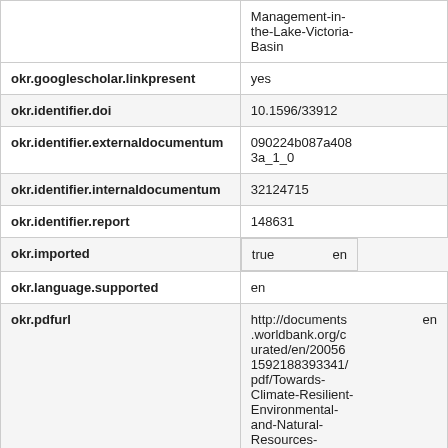| Field | Value |
| --- | --- |
|  | Management-in-the-Lake-Victoria-Basin |
| okr.googlescholar.linkpresent | yes |
| okr.identifier.doi | 10.1596/33912 |
| okr.identifier.externaldocumentum | 090224b087a4083a_1_0 |
| okr.identifier.internaldocumentum | 32124715 |
| okr.identifier.report | 148631 |
| okr.imported | true    en |
| okr.language.supported | en |
| okr.pdfurl | http://documents.worldbank.org/curated/en/200561592188393341/pdf/Towards-Climate-Resilient-Environmental-and-Natural-Resources-Management-in-the-Lake-Victoria-    en |